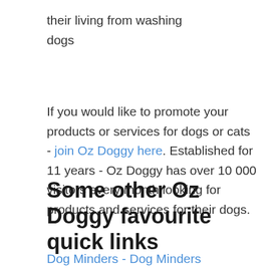their living from washing dogs
If you would like to promote your products or services for dogs or cats - join Oz Doggy here. Established for 11 years - Oz Doggy has over 10 000 visitors every month looking for products and services for their dogs.
Some other Oz Doggy favourite quick links
Dog Minders - Dog Minders Melbourne - Mobile